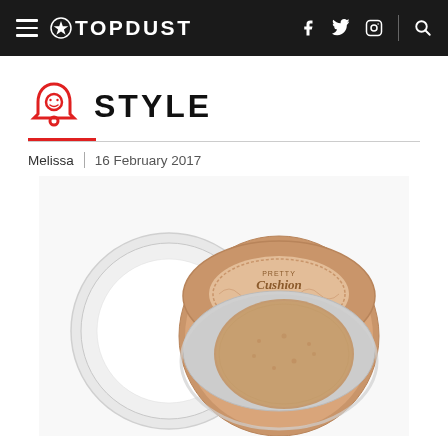TOPDUST
STYLE
Melissa | 16 February 2017
[Figure (photo): A cushion foundation compact with rose gold lid, open to reveal a beige sponge pad inside a clear case, with the lid propped open to the left.]